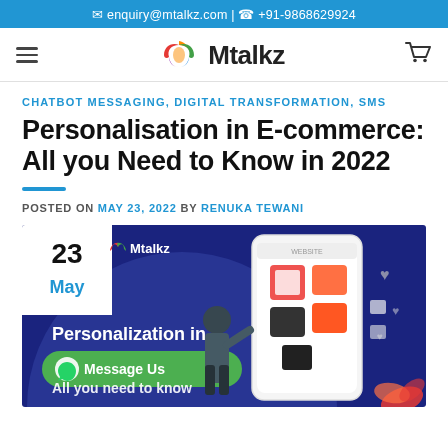✉ enquiry@mtalkz.com | ☎ +91-9868629924
[Figure (logo): Mtalkz logo with colorful M icon and navigation bar with hamburger menu and cart icon]
CHATBOT MESSAGING, DIGITAL TRANSFORMATION, SMS
Personalisation in E-commerce: All you Need to Know in 2022
POSTED ON MAY 23, 2022 BY RENUKA TEWANI
[Figure (illustration): Promotional blog header image showing 'Personalization in E-commerce All you need to know in 2022' with Mtalkz branding, date badge showing 23 May, WhatsApp Message Us button, and illustration of woman using shopping app on phone]